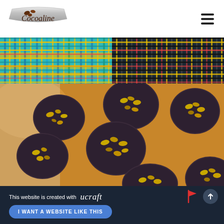[Figure (logo): Cocoaline brand logo — silver ribbon shape with brown cocoa beans illustration and the text Cocoaline]
[Figure (photo): Colorful woven textile mat with yellow, blue, green, red, and black thread pattern]
[Figure (photo): Close-up of dark chocolate mendiants topped with golden raisins and nuts, arranged on a golden surface]
This website is created with ucraft
I WANT A WEBSITE LIKE THIS